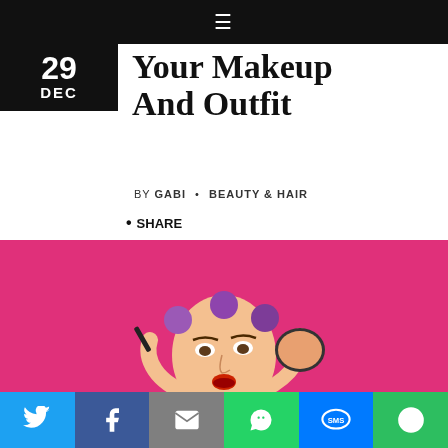≡
Your Makeup And Outfit
BY GABI • BEAUTY & HAIR
• SHARE
[Figure (photo): Woman applying mascara with hair rollers against a pink background, holding a makeup compact]
As one's wardrobe can have many colors to choose from, it's easy to get confused and be overwhelmed with options. Also,